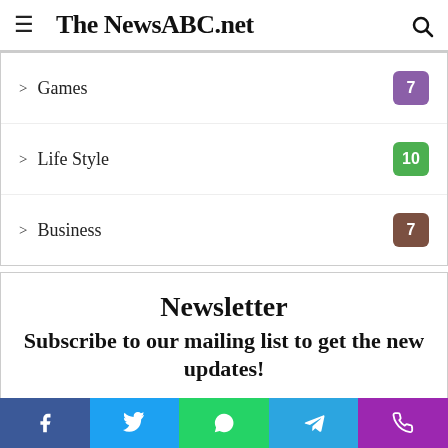The NewsABC.net
Games 7
Life Style 10
Business 7
Newsletter
Subscribe to our mailing list to get the new updates!
Enter your Email address